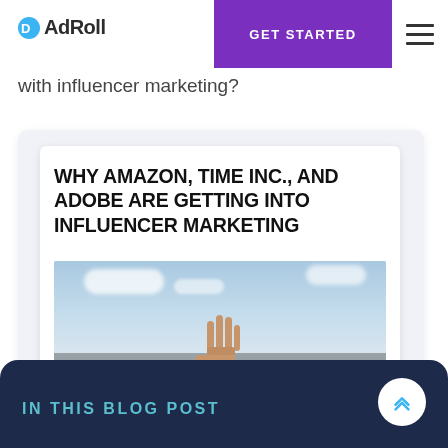AdRoll | GET STARTED
with influencer marketing?
WHY AMAZON, TIME INC., AND ADOBE ARE GETTING INTO INFLUENCER MARKETING
[Figure (photo): A hand raised against a city skyline backdrop with blue sky and clouds]
IN THIS BLOG POST